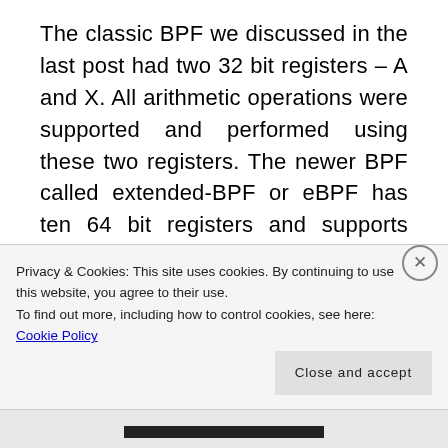The classic BPF we discussed in the last post had two 32 bit registers – A and X. All arithmetic operations were supported and performed using these two registers. The newer BPF called extended-BPF or eBPF has ten 64 bit registers and supports arbitary load/stores. It also contains new instructions like BPF_CALL which can be used to call some new kernel-side helper functions. We
Privacy & Cookies: This site uses cookies. By continuing to use this website, you agree to their use.
To find out more, including how to control cookies, see here: Cookie Policy
Close and accept